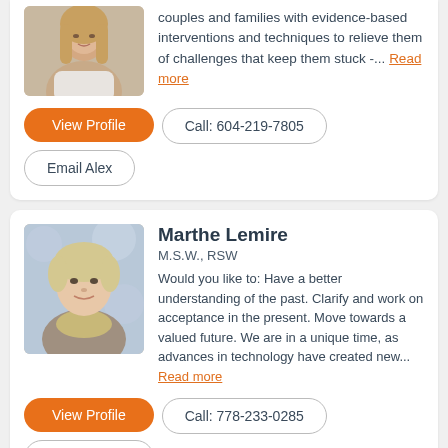[Figure (photo): Partial photo of blonde woman (Alex), cropped at top]
couples and families with evidence-based interventions and techniques to relieve them of challenges that keep them stuck -... Read more
View Profile
Call: 604-219-7805
Email Alex
[Figure (photo): Photo of Marthe Lemire, older woman with short blonde hair]
Marthe Lemire
M.S.W., RSW
Would you like to: Have a better understanding of the past. Clarify and work on acceptance in the present. Move towards a valued future. We are in a unique time, as advances in technology have created new... Read more
View Profile
Call: 778-233-0285